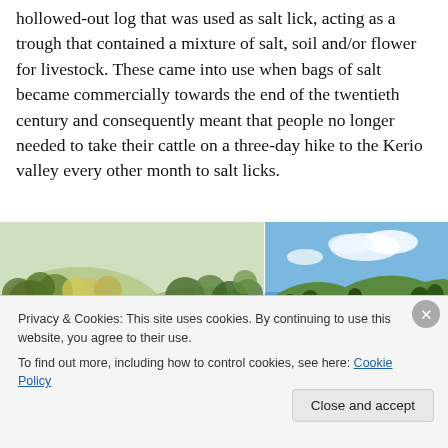hollowed-out log that was used as salt lick, acting as a trough that contained a mixture of salt, soil and/or flower for livestock. These came into use when bags of salt became commercially towards the end of the twentieth century and consequently meant that people no longer needed to take their cattle on a three-day hike to the Kerio valley every other month to salt licks.
[Figure (illustration): Illustrated bird's-eye sketch of a landscape with trees and green terrain]
[Figure (photo): Photograph of green rolling hills under a blue sky with some clouds]
Privacy & Cookies: This site uses cookies. By continuing to use this website, you agree to their use.
To find out more, including how to control cookies, see here: Cookie Policy